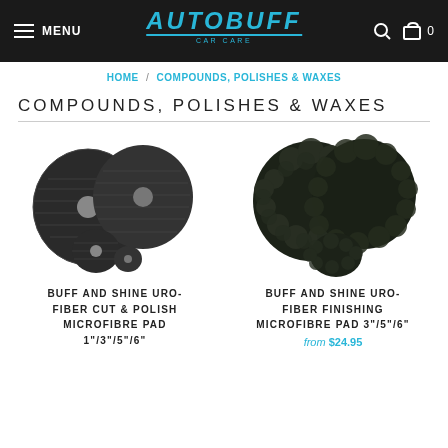MENU | AUTOBUFF CAR CARE | [search icon] [cart] 0
HOME / COMPOUNDS, POLISHES & WAXES
COMPOUNDS, POLISHES & WAXES
[Figure (photo): Buff and Shine Uro-Fiber Cut & Polish Microfibre pads in sizes 1"/3"/5"/6", dark grey microfibre pads stacked]
BUFF AND SHINE URO-FIBER CUT & POLISH MICROFIBRE PAD 1"/3"/5"/6"
[Figure (photo): Buff and Shine Uro-Fiber Finishing Microfibre pads in sizes 3"/5"/6", dark green fluffy microfibre pads stacked]
BUFF AND SHINE URO-FIBER FINISHING MICROFIBRE PAD 3"/5"/6"
from $24.95